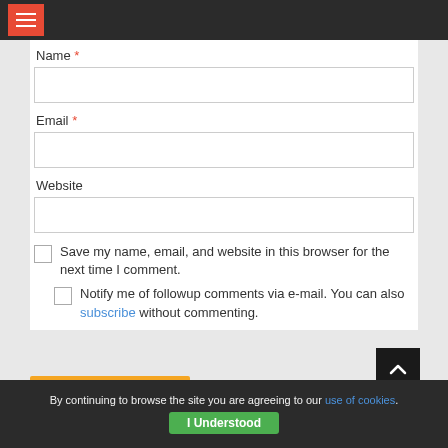Navigation bar with hamburger menu
Name *
Email *
Website
Save my name, email, and website in this browser for the next time I comment.
Notify me of followup comments via e-mail. You can also subscribe without commenting.
By continuing to browse the site you are agreeing to our use of cookies. I Understood